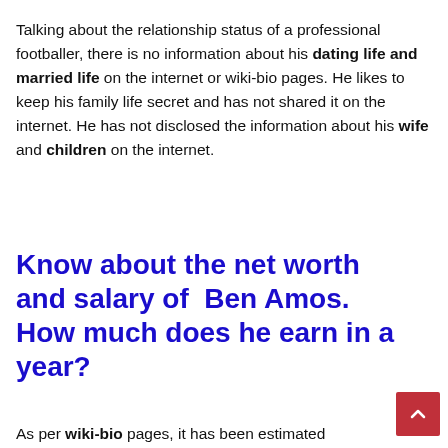Talking about the relationship status of a professional footballer, there is no information about his dating life and married life on the internet or wiki-bio pages. He likes to keep his family life secret and has not shared it on the internet. He has not disclosed the information about his wife and children on the internet.
Know about the net worth and salary of Ben Amos. How much does he earn in a year?
As per wiki-bio pages, it has been estimated